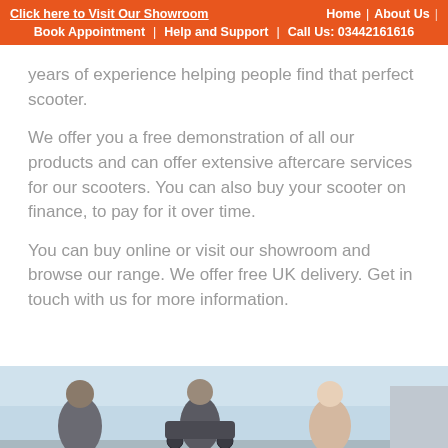Click here to Visit Our Showroom | Home | About Us | Book Appointment | Help and Support | Call Us: 03442161616
years of experience helping people find that perfect scooter.
We offer you a free demonstration of all our products and can offer extensive aftercare services for our scooters. You can also buy your scooter on finance, to pay for it over time.
You can buy online or visit our showroom and browse our range. We offer free UK delivery. Get in touch with us for more information.
[Figure (photo): Photograph of people with a scooter outdoors, partial view showing at least two people and a mobility scooter against a light sky background.]